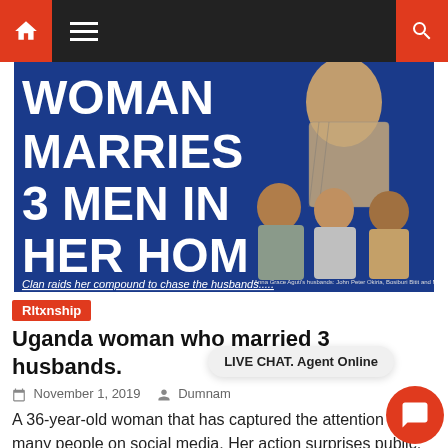Navigation bar with home, menu, and search icons
[Figure (photo): Newspaper clipping with headline 'WOMAN MARRIES 3 MEN IN HER HOME' on blue background with photo of a woman and three men seated. Caption: 'Clan raids her compound to chase the husbands...']
Rltxnship
Uganda woman who married 3 husbands.
November 1, 2019   Dumnam
LIVE CHAT. Agent Online
A 36-year-old woman that has captured the attention of many people on social media. Her action surprises public, after getting married to three men and allowed them huts each in her home. Ann Grace Aguti who is from